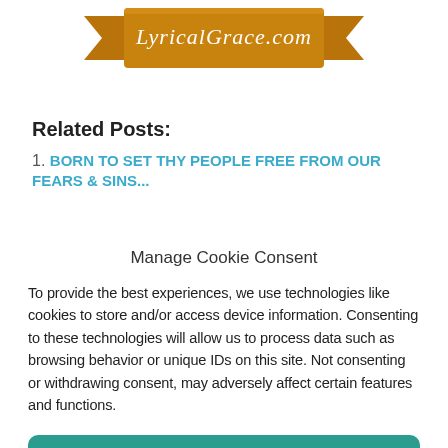[Figure (logo): LyricalGrace.com banner logo with brown/golden ribbon design and cursive white text]
Related Posts:
1. BORN TO SET THY PEOPLE FREE FROM OUR FEARS & SINS...
Manage Cookie Consent
To provide the best experiences, we use technologies like cookies to store and/or access device information. Consenting to these technologies will allow us to process data such as browsing behavior or unique IDs on this site. Not consenting or withdrawing consent, may adversely affect certain features and functions.
Accept